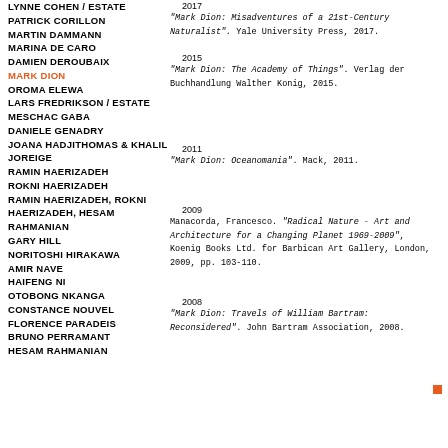LYNNE COHEN / ESTATE
PATRICK CORILLON
MARTIN DAMMANN
MARINA DE CARO
DAMIEN DEROUBAIX
MARK DION
OROMA ELEWA
LARS FREDRIKSON / ESTATE
MESCHAC GABA
DANIELE GENADRY
JOANA HADJITHOMAS & KHALIL JOREIGE
RAMIN HAERIZADEH
ROKNI HAERIZADEH
RAMIN HAERIZADEH, ROKNI HAERIZADEH, HESAM RAHMANIAN
GARY HILL
NORITOSHI HIRAKAWA
AMIR NAVE
HAIFENG NI
OTOBONG NKANGA
CONSTANCE NOUVEL
FLORENCE PARADEIS
BRUNO PERRAMANT
HESAM RAHMANIAN
2017
"Mark Dion: Misadventures of a 21st-Century Naturalist". Yale University Press, 2017.
2015
"Mark Dion: The Academy of Things". Verlag der Buchhandlung Walther Konig, 2015.
2011
"Mark Dion: Oceanomania". Mack, 2011.
2009
Manacorda, Francesco. "Radical Nature - Art and Architecture for a Changing Planet 1969-2009", Koenig Books Ltd. for Barbican Art Gallery, London, 2009, pp. 103-110.
2008
"Mark Dion: Travels of William Bartram: Reconsidered". John Bartram Association, 2008.